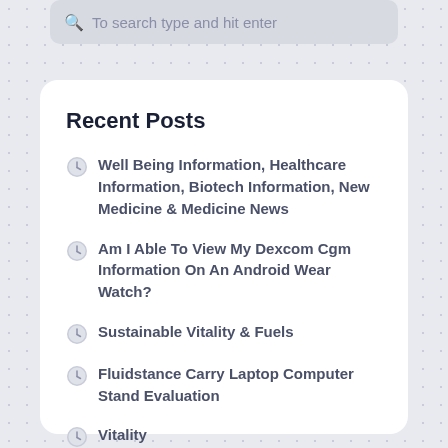To search type and hit enter
Recent Posts
Well Being Information, Healthcare Information, Biotech Information, New Medicine & Medicine News
Am I Able To View My Dexcom Cgm Information On An Android Wear Watch?
Sustainable Vitality & Fuels
Fluidstance Carry Laptop Computer Stand Evaluation
Vitality